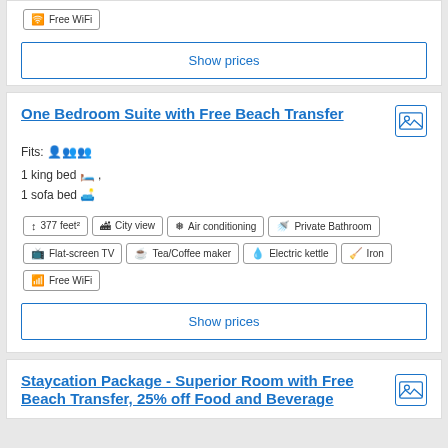Free WiFi
Show prices
One Bedroom Suite with Free Beach Transfer
Fits: 3 people
1 king bed, 1 sofa bed
377 feet²
City view
Air conditioning
Private Bathroom
Flat-screen TV
Tea/Coffee maker
Electric kettle
Iron
Free WiFi
Show prices
Staycation Package - Superior Room with Free Beach Transfer, 25% off Food and Beverage